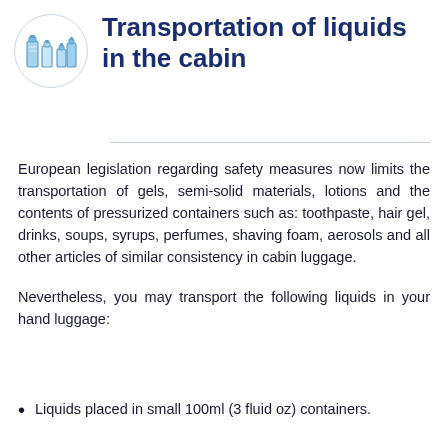[Figure (illustration): Icon of travel toiletries/liquid containers inside a circle border]
Transportation of liquids in the cabin
European legislation regarding safety measures now limits the transportation of gels, semi-solid materials, lotions and the contents of pressurized containers such as: toothpaste, hair gel, drinks, soups, syrups, perfumes, shaving foam, aerosols and all other articles of similar consistency in cabin luggage.
Nevertheless, you may transport the following liquids in your hand luggage:
Liquids placed in small 100ml (3 fluid oz) containers.